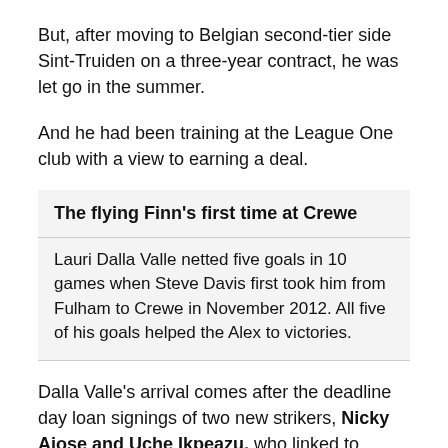But, after moving to Belgian second-tier side Sint-Truiden on a three-year contract, he was let go in the summer.
And he had been training at the League One club with a view to earning a deal.
The flying Finn's first time at Crewe
Lauri Dalla Valle netted five goals in 10 games when Steve Davis first took him from Fulham to Crewe in November 2012. All five of his goals helped the Alex to victories.
Dalla Valle's arrival comes after the deadline day loan signings of two new strikers, Nicky Ajose and Uche Ikpeazu, who linked to fashion Crewe's goal in Saturday's 1-1 draw against Doncaster Rovers in League One.
And, although Crewe still sit bottom of table, they are only three points from safety and manager Steve Davis